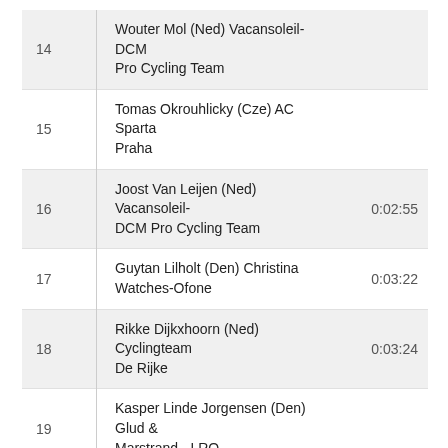| # | Rider / Team | Time |
| --- | --- | --- |
| 14 | Wouter Mol (Ned) Vacansoleil-DCM Pro Cycling Team |  |
| 15 | Tomas Okrouhlicky (Cze) AC Sparta Praha |  |
| 16 | Joost Van Leijen (Ned) Vacansoleil-DCM Pro Cycling Team | 0:02:55 |
| 17 | Guytan Lilholt (Den) Christina Watches-Ofone | 0:03:22 |
| 18 | Rikke Dijkxhoorn (Ned) Cyclingteam De Rijke | 0:03:24 |
| 19 | Kasper Linde Jorgensen (Den) Glud & Marstrand - LRO |  |
| 20 | Nikola Aistrup (Den) Team Concordia Forsikring - Himmerland |  |